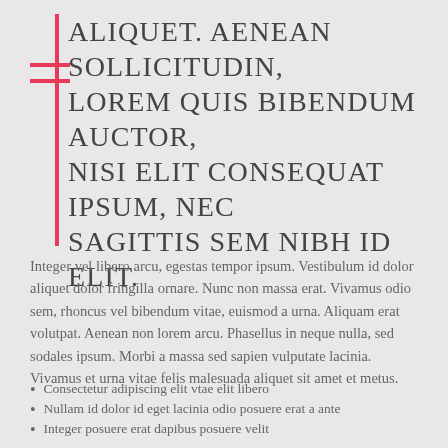ALIQUET. AENEAN SOLLICITUDIN, LOREM QUIS BIBENDUM AUCTOR, NISI ELIT CONSEQUAT IPSUM, NEC SAGITTIS SEM NIBH ID ELIT.
Integer vel libero arcu, egestas tempor ipsum. Vestibulum id dolor aliquet dolor fringilla ornare. Nunc non massa erat. Vivamus odio sem, rhoncus vel bibendum vitae, euismod a urna. Aliquam erat volutpat. Aenean non lorem arcu. Phasellus in neque nulla, sed sodales ipsum. Morbi a massa sed sapien vulputate lacinia. Vivamus et urna vitae felis malesuada aliquet sit amet et metus.
Consectetur adipiscing elit vtae elit libero
Nullam id dolor id eget lacinia odio posuere erat a ante
Integer posuere erat dapibus posuere velit
There are many variations of passages of Lorem Ipsum